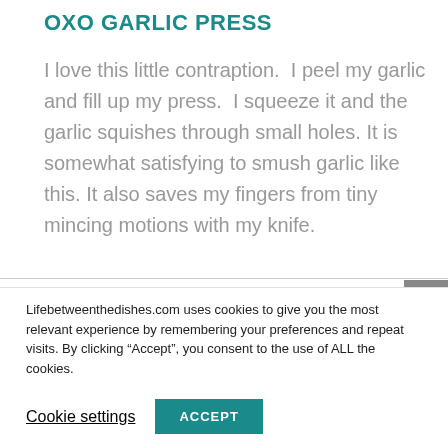OXO GARLIC PRESS
I love this little contraption.  I peel my garlic and fill up my press.  I squeeze it and the garlic squishes through small holes. It is somewhat satisfying to smush garlic like this. It also saves my fingers from tiny mincing motions with my knife.
Lifebetweenthedishes.com uses cookies to give you the most relevant experience by remembering your preferences and repeat visits. By clicking “Accept”, you consent to the use of ALL the cookies.
Cookie settings
ACCEPT